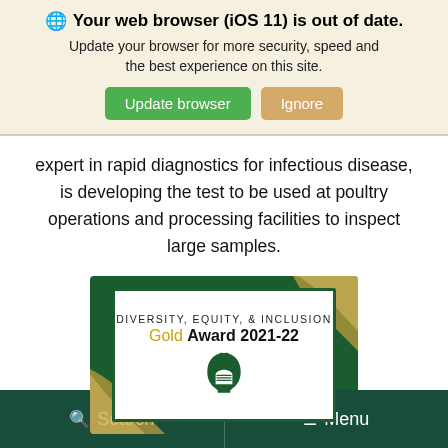🌐 Your web browser (iOS 11) is out of date. Update your browser for more security, speed and the best experience on this site. [Update browser] [Ignore]
expert in rapid diagnostics for infectious disease, is developing the test to be used at poultry operations and processing facilities to inspect large samples.
[Figure (illustration): Michigan State University Diversity, Equity, & Inclusion Gold Award 2021-22 badge with Spartan helmet logo on green and gold background]